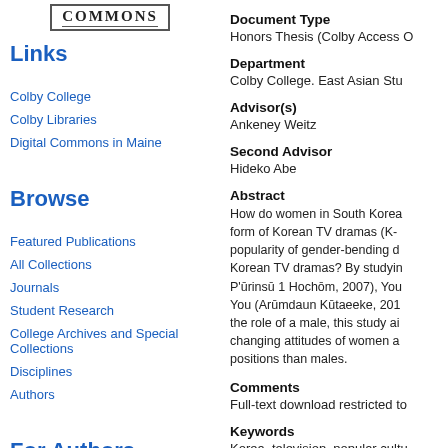[Figure (logo): Digital Commons logo with text COMMONS in a bordered box]
Links
Colby College
Colby Libraries
Digital Commons in Maine
Browse
Featured Publications
All Collections
Journals
Student Research
College Archives and Special Collections
Disciplines
Authors
For Authors
Document Type
Honors Thesis (Colby Access O
Department
Colby College. East Asian Stu
Advisor(s)
Ankeney Weitz
Second Advisor
Hideko Abe
Abstract
How do women in South Korea form of Korean TV dramas (K- popularity of gender-bending d Korean TV dramas? By studyin P'ūrinsū 1 Hochōm, 2007), You You (Arūmdaun Kūtaeeke, 201 the role of a male, this study ai changing attitudes of women a positions than males.
Comments
Full-text download restricted to
Keywords
Korea, television, popular cultu
Recommended Citation